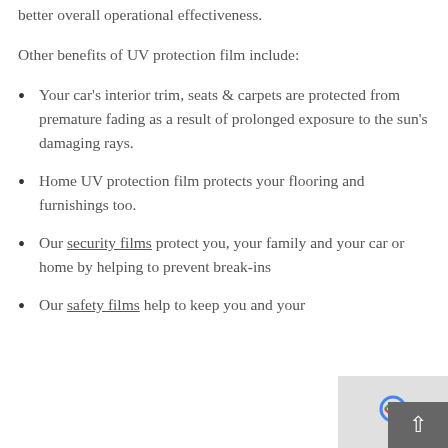better overall operational effectiveness.
Other benefits of UV protection film include:
Your car's interior trim, seats & carpets are protected from premature fading as a result of prolonged exposure to the sun's damaging rays.
Home UV protection film protects your flooring and furnishings too.
Our security films protect you, your family and your car or home by helping to prevent break-ins
Our safety films help to keep you and your